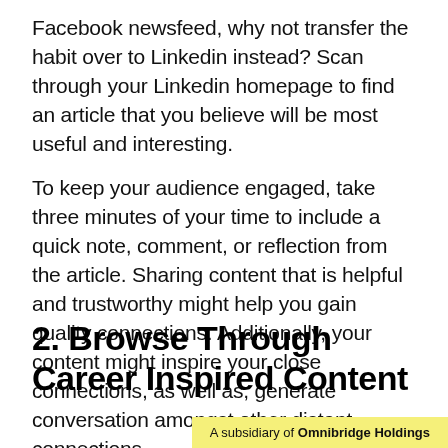Facebook newsfeed, why not transfer the habit over to Linkedin instead? Scan through your Linkedin homepage to find an article that you believe will be most useful and interesting.
To keep your audience engaged, take three minutes of your time to include a quick note, comment, or reflection from the article. Sharing content that is helpful and trustworthy might help you gain quality connections. Additionally, your content might inspire your close connections, as well as, generate conversation amongst other distant connections.
2. Browse Through Career Inspired Content
A subsidiary of Omnibridge Holdings